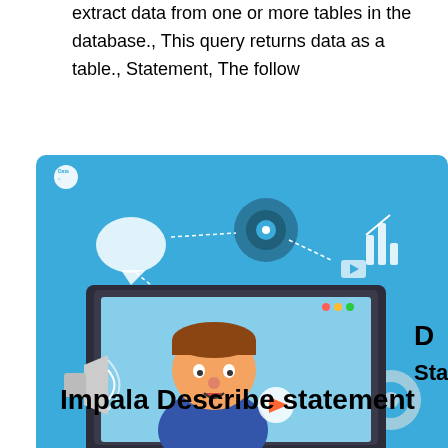extract data from one or more tables in the database., This query returns data as a table., Statement, The follow
[Figure (illustration): Illustration of an animated man emerging from a laptop screen on a blue background, with icons for data analytics floating around (speech bubble, target, bar chart, people icons, play button). Text partially visible on the right side reads 'De Sta'. A megaphone is visible on the lower left. The image appears to be a promotional/educational image for a data course, with a 'Data' logo in the top left corner.]
Impala Describe statement